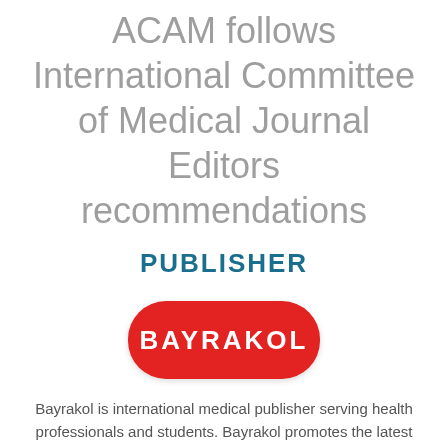ACAM follows International Committee of Medical Journal Editors recommendations
PUBLISHER
[Figure (logo): Bayrakol publisher logo — red rounded rectangle with white bold text 'BAYRAKOL']
Bayrakol is international medical publisher serving health professionals and students. Bayrakol promotes the latest advancements in clinical practice, publishes the latest research